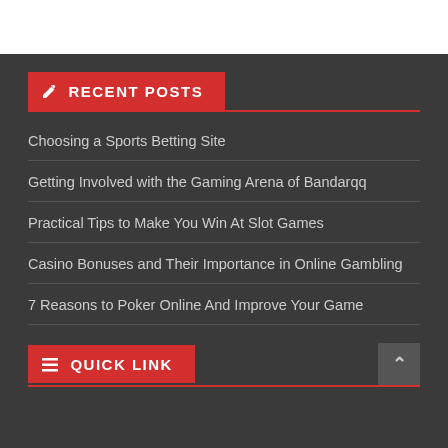RECENT POSTS
Choosing a Sports Betting Site
Getting Involved with the Gaming Arena of Bandarqq
Practical Tips to Make You Win At Slot Games
Casino Bonuses and Their Importance in Online Gambling
7 Reasons to Poker Online And Improve Your Game
QUICK LINK